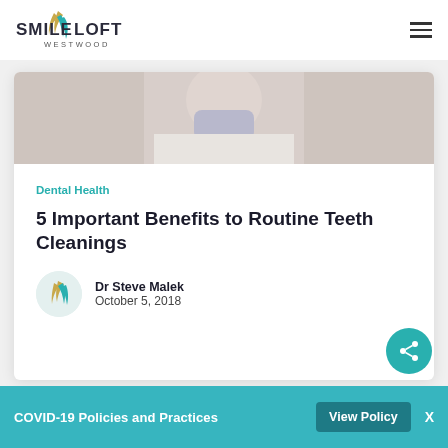[Figure (logo): Smile Loft Westwood logo with stylized tooth/leaf graphic in gold and teal, text 'SMILE LOFT' and 'WESTWOOD' below]
[Figure (photo): Cropped photo of a person wearing a medical mask and white coat, presumably a dental professional]
Dental Health
5 Important Benefits to Routine Teeth Cleanings
Dr Steve Malek
October 5, 2018
COVID-19 Policies and Practices
View Policy